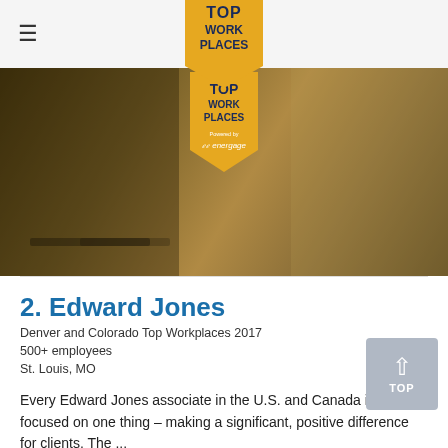≡  TOP WORK PLACES
[Figure (photo): Office workspace banner image with a golden/amber overlay showing desks and chairs. A 'TOP WORK PLACES Powered by energage' badge is overlaid in the center.]
2. Edward Jones
Denver and Colorado Top Workplaces 2017
500+ employees
St. Louis, MO
Every Edward Jones associate in the U.S. and Canada is focused on one thing – making a significant, positive difference for clients. The ...